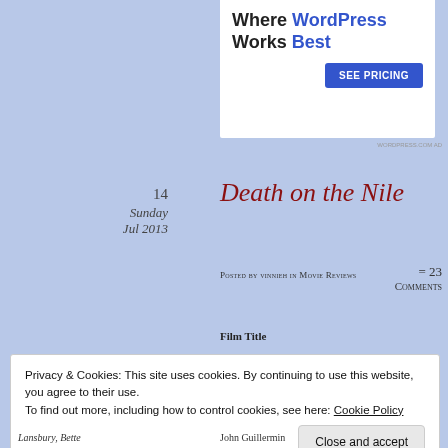[Figure (screenshot): WordPress advertisement banner: 'Where WordPress Works Best' with a blue 'SEE PRICING' button on white background]
14 Sunday Jul 2013
Death on the Nile
Posted by vinnieh in Movie Reviews
= 23 Comments
Film Title
Privacy & Cookies: This site uses cookies. By continuing to use this website, you agree to their use. To find out more, including how to control cookies, see here: Cookie Policy
Close and accept
Lansbury, Bette
John Guillermin